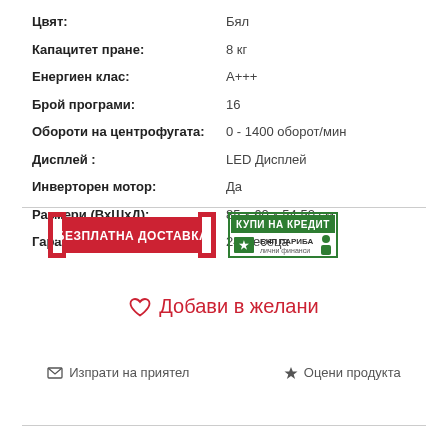| Attribute | Value |
| --- | --- |
| Цвят: | Бял |
| Капацитет пране: | 8 кг |
| Енергиен клас: | А+++ |
| Брой програми: | 16 |
| Обороти на центрофугата: | 0 - 1400 оборот/мин |
| Дисплей : | LED Дисплей |
| Инверторен мотор: | Да |
| Размери (ВхШхД): | 85 х 60 х 54.50 см |
| Гаранция: | 24 месеца |
[Figure (infographic): БЕЗПЛАТНА ДОСТАВКА badge with red brackets and КУПИ НА КРЕДИТ green badge with БНП ПАРИБА logo]
♡ Добави в желани
✉ Изпрати на приятел   ★ Оцени продукта